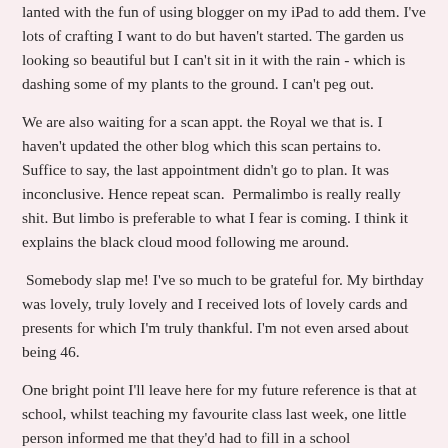lanted with the fun of using blogger on my iPad to add them. I've lots of crafting I want to do but haven't started. The garden us looking so beautiful but I can't sit in it with the rain - which is dashing some of my plants to the ground. I can't peg out.
We are also waiting for a scan appt. the Royal we that is. I haven't updated the other blog which this scan pertains to. Suffice to say, the last appointment didn't go to plan. It was inconclusive. Hence repeat scan.  Permalimbo is really really shit. But limbo is preferable to what I fear is coming. I think it explains the black cloud mood following me around.
Somebody slap me! I've so much to be grateful for. My birthday was lovely, truly lovely and I received lots of lovely cards and presents for which I'm truly thankful. I'm not even arsed about being 46.
One bright point I'll leave here for my future reference is that at school, whilst teaching my favourite class last week, one little person informed me that they'd had to fill in a school questionnaire for their end of year reports.
I was told that to the question
Q. What do you like best about coming to school?